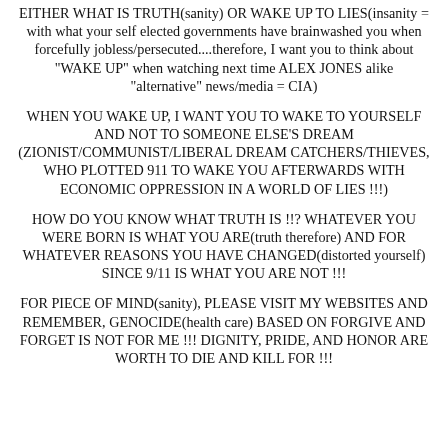EITHER WHAT IS TRUTH(sanity) OR WAKE UP TO LIES(insanity = with what your self elected governments have brainwashed you when forcefully jobless/persecuted....therefore, I want you to think about "WAKE UP" when watching next time ALEX JONES alike "alternative" news/media = CIA)
WHEN YOU WAKE UP, I WANT YOU TO WAKE TO YOURSELF AND NOT TO SOMEONE ELSE'S DREAM (ZIONIST/COMMUNIST/LIBERAL DREAM CATCHERS/THIEVES, WHO PLOTTED 911 TO WAKE YOU AFTERWARDS WITH ECONOMIC OPPRESSION IN A WORLD OF LIES !!!)
HOW DO YOU KNOW WHAT TRUTH IS !!? WHATEVER YOU WERE BORN IS WHAT YOU ARE(truth therefore) AND FOR WHATEVER REASONS YOU HAVE CHANGED(distorted yourself) SINCE 9/11 IS WHAT YOU ARE NOT !!!
FOR PIECE OF MIND(sanity), PLEASE VISIT MY WEBSITES AND REMEMBER, GENOCIDE(health care) BASED ON FORGIVE AND FORGET IS NOT FOR ME !!! DIGNITY, PRIDE, AND HONOR ARE WORTH TO DIE AND KILL FOR !!!